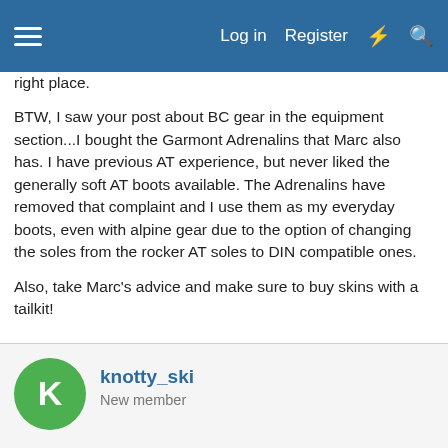Log in  Register
right place.
BTW, I saw your post about BC gear in the equipment section...I bought the Garmont Adrenalins that Marc also has. I have previous AT experience, but never liked the generally soft AT boots available. The Adrenalins have removed that complaint and I use them as my everyday boots, even with alpine gear due to the option of changing the soles from the rocker AT soles to DIN compatible ones.
Also, take Marc's advice and make sure to buy skins with a tailkit!
knotty_ski
New member
Dec 15, 2004
#15
One of my favorites was at the PSIA First Tracks event at